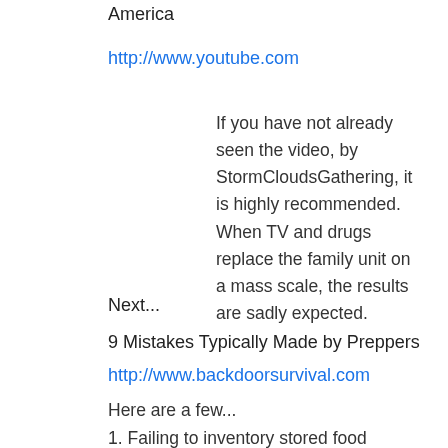America
http://www.youtube.com
If you have not already seen the video, by StormCloudsGathering, it is highly recommended.   When TV and drugs replace the family unit on a mass scale, the results are sadly expected.
Next...
9 Mistakes Typically Made by Preppers
http://www.backdoorsurvival.com
Here are a few...
1. Failing to inventory stored food supplies.
2. Buying stuff while ignoring the need to develop skills.
3. Preparing mostly to bug out rather than